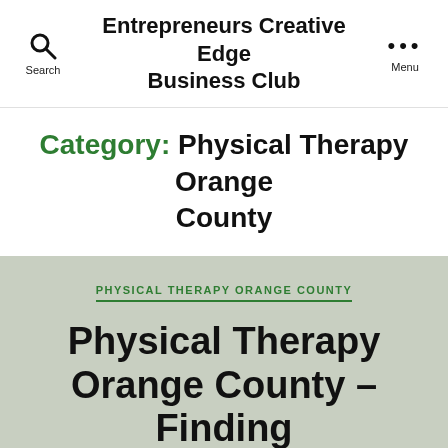Entrepreneurs Creative Edge Business Club
Category: Physical Therapy Orange County
PHYSICAL THERAPY ORANGE COUNTY
Physical Therapy Orange County – Finding The Right One